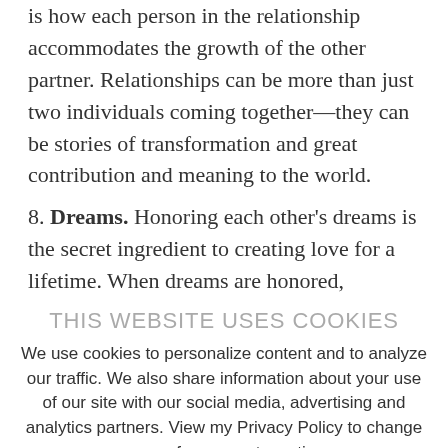is how each person in the relationship accommodates the growth of the other partner. Relationships can be more than just two individuals coming together—they can be stories of transformation and great contribution and meaning to the world.
8. Dreams. Honoring each other's dreams is the secret ingredient to creating love for a lifetime. When dreams are honored,
THIS WEBSITE USES COOKIES
We use cookies to personalize content and to analyze our traffic. We also share information about your use of our site with our social media, advertising and analytics partners. View my Privacy Policy to change your preferences at any time.
Cookie settings
ACCEPT